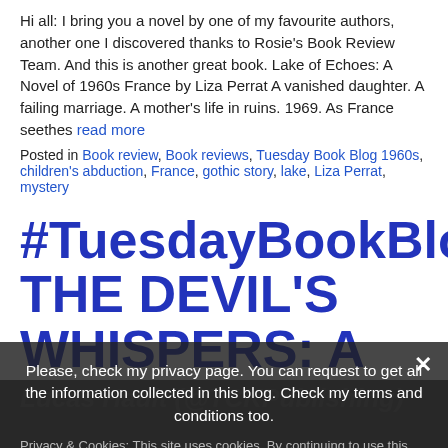Hi all: I bring you a novel by one of my favourite authors, another one I discovered thanks to Rosie's Book Review Team. And this is another great book. Lake of Echoes: A Novel of 1960s France by Liza Perrat A vanished daughter. A failing marriage. A mother's life in ruins. 1969. As France seethes read more
Posted in Book review, Book reviews, Tuesday Book Blog 1960s, children's abduction, France, gothic story, lake, Liza Perrat, mystery
#TuesdayBookBlog THE DEVIL'S WHISPERS: A GOTHIC HORROR NOVEL by Lucas Hault (@TCKPublishing)
Please, check my privacy page. You can request to get all the information collected in this blog. Check my terms and conditions too.
Privacy & Cookies: This site uses cookies. By continuing to use this website, you agree to their use.
To find out more, including how to control cookies, see here: Cookie Policy
Privacy Preferences
I Agree
Close and accept